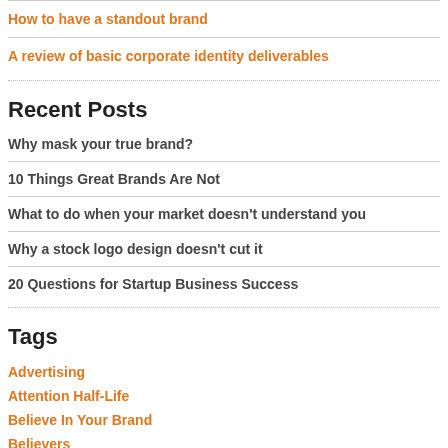How to have a standout brand
A review of basic corporate identity deliverables
Recent Posts
Why mask your true brand?
10 Things Great Brands Are Not
What to do when your market doesn't understand you
Why a stock logo design doesn't cut it
20 Questions for Startup Business Success
Tags
Advertising
Attention Half-Life
Believe In Your Brand
Believers